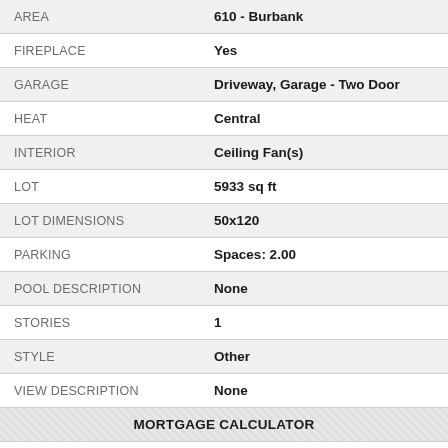| Field | Value |
| --- | --- |
| AREA | 610 - Burbank |
| FIREPLACE | Yes |
| GARAGE | Driveway, Garage - Two Door |
| HEAT | Central |
| INTERIOR | Ceiling Fan(s) |
| LOT | 5933 sq ft |
| LOT DIMENSIONS | 50x120 |
| PARKING | Spaces: 2.00 |
| POOL DESCRIPTION | None |
| STORIES | 1 |
| STYLE | Other |
| VIEW DESCRIPTION | None |
MORTGAGE CALCULATOR